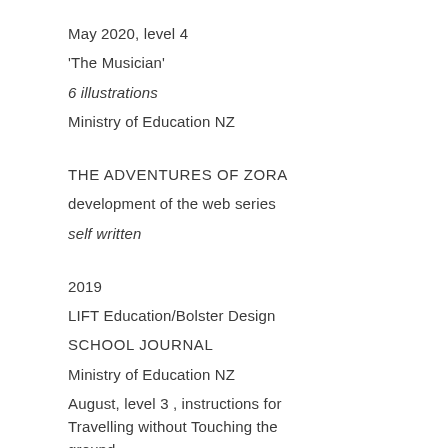May 2020, level 4
'The Musician'
6 illustrations
Ministry of Education NZ
THE ADVENTURES OF ZORA
development of the web series
self written
2019
LIFT Education/Bolster Design
SCHOOL JOURNAL
Ministry of Education NZ
August, level 3 , instructions for Travelling without Touching the ground.
August, level 2 Pencarrow , New